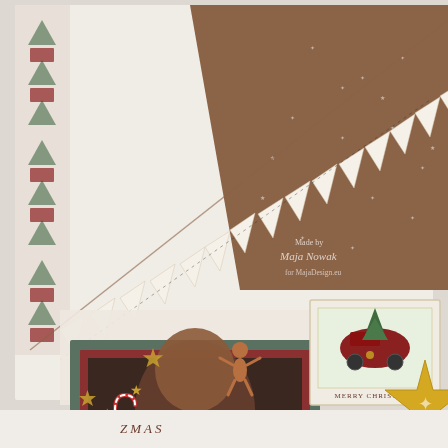[Figure (photo): Christmas scrapbook layout photographed from above at an angle. Shows a kraft brown paper background with white star/dot pattern, a diagonal banner of triangular pennant flags spelling 'MERRY CHRISTMAS' in red letters on cream/ivory pennants, decorative elements including gold star shapes, candy cane, gingerbread man, Christmas tree stickers, a framed photo of a child partially visible in green and red mat layers, a stamp-style card featuring a red vintage car with Christmas tree and 'MERRY CHRISTMAS' text, a large gold cookie star shape in the corner, and a watermark reading 'Made by Maja Nowak for MajaDesign.eu'. The layout has a vintage Christmas crafting aesthetic with cream, kraft brown, sage green, red and gold colors.]
ZMAS